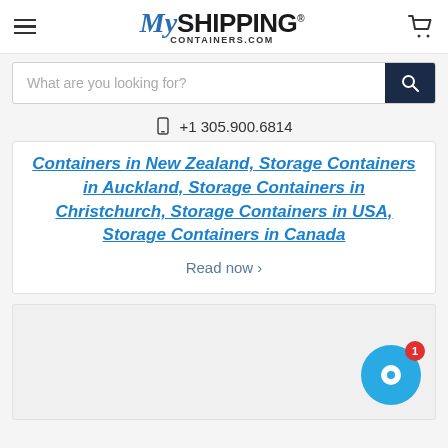MyShippingContainers.com
What are you looking for?
+1 305.900.6814
Containers in New Zealand, Storage Containers in Auckland, Storage Containers in Christchurch, Storage Containers in USA, Storage Containers in Canada
Read now ›
[Figure (screenshot): Gray card area with teal chat widget showing badge count of 1]